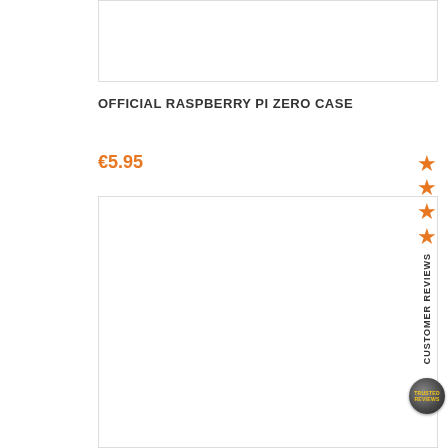[Figure (photo): Product image placeholder (top) for Raspberry Pi Zero Case]
OFFICIAL RASPBERRY PI ZERO CASE
€5.95
[Figure (photo): Product image placeholder (bottom) for Raspberry Pi Zero Case]
[Figure (infographic): Sidebar with CUSTOMER REVIEWS label, 4 orange stars, and a circular badge]